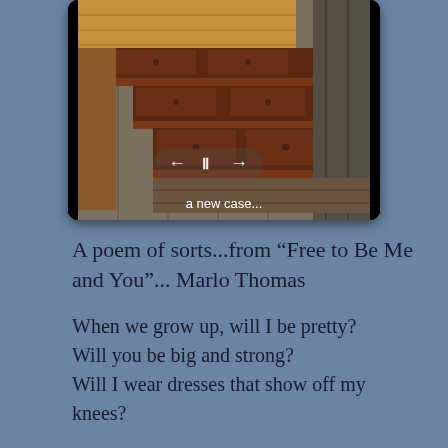[Figure (photo): Photo of rustic wooden staircase with drawer storage built into the steps, against a weathered wood plank wall. Media playback controls (back arrow, pause, forward arrow) are overlaid in the center. Caption reads 'a new case...']
A poem of sorts...from “Free to Be Me and You”... Marlo Thomas
When we grow up, will I be pretty?
Will you be big and strong?
Will I wear dresses that show off my knees?